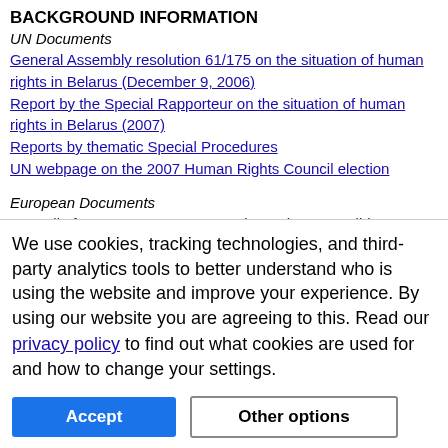BACKGROUND INFORMATION
UN Documents
General Assembly resolution 61/175 on the situation of human rights in Belarus (December 9, 2006)
Report by the Special Rapporteur on the situation of human rights in Belarus (2007)
Reports by thematic Special Procedures
UN webpage on the 2007 Human Rights Council election
European Documents
Council of Europe statement opposing Belarus' candidacy
OSCE report on Belarus' 2006 presidential election
Office for a Democratic Belarus
International Helsinki Federation report on Belarus
We use cookies, tracking technologies, and third-party analytics tools to better understand who is using the website and improve your experience. By using our website you are agreeing to this. Read our privacy policy to find out what cookies are used for and how to change your settings.
Accept
Other options